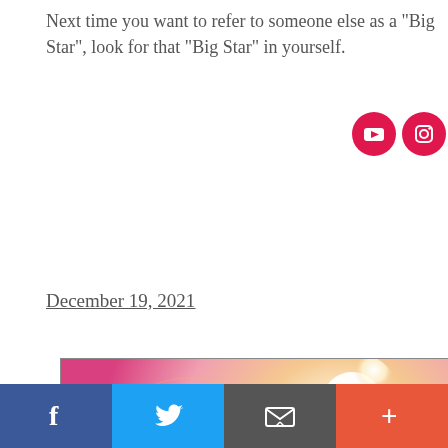Next time you want to refer to someone else as a "Big Star", look for that "Big Star" in yourself.
[Figure (other): YouTube and Instagram social media icon circles in red/pink]
December 19, 2021
[Figure (illustration): A figure kneeling on rocky terrain in front of a glowing white light source, surrounded by swirling pink, orange and peach cosmic colors]
[Figure (other): Social share bar with Facebook (blue), Twitter (blue), Email (dark gray), and More (orange-red) buttons]